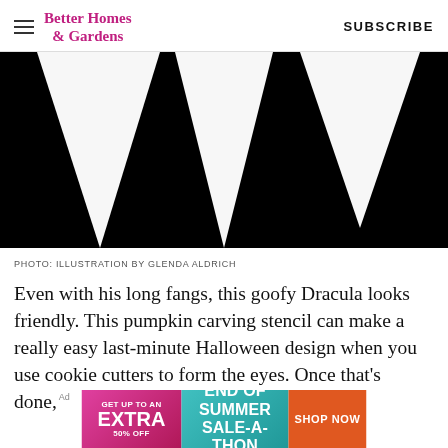Better Homes & Gardens | SUBSCRIBE
[Figure (illustration): Black background with white bat wing / fang shapes — part of a Dracula pumpkin carving stencil illustration by Glenda Aldrich]
PHOTO: ILLUSTRATION BY GLENDA ALDRICH
Even with his long fangs, this goofy Dracula looks friendly. This pumpkin carving stencil can make a really easy last-minute Halloween design when you use cookie cutters to form the eyes. Once that's done,
[Figure (infographic): Advertisement banner: GET UP TO AN EXTRA 50% OFF | END OF SUMMER SALE-A-THON | SHOP NOW]